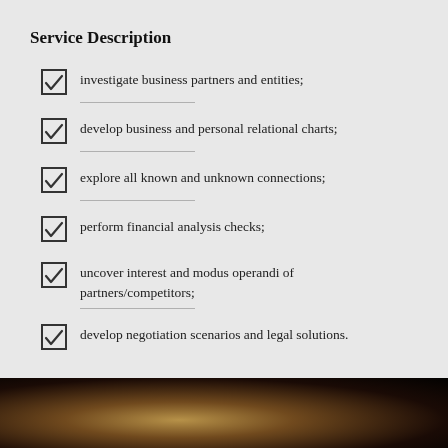Service Description
investigate business partners and entities;
develop business and personal relational charts;
explore all known and unknown connections;
perform financial analysis checks;
uncover interest and modus operandi of partners/competitors;
develop negotiation scenarios and legal solutions.
[Figure (photo): Dark photograph showing silhouettes of people, with warm amber/golden light in background]